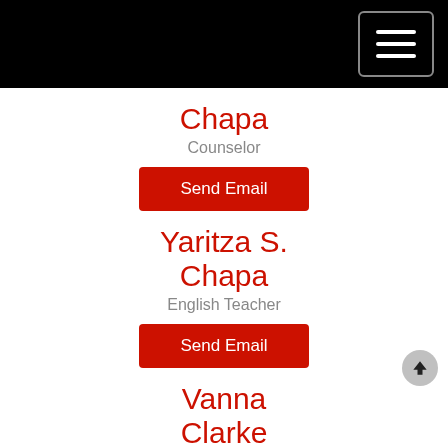Chapa
Counselor
Send Email
Yaritza S. Chapa
English Teacher
Send Email
Vanna Clarke
Special Education Teacher
Send Email
Zeferino